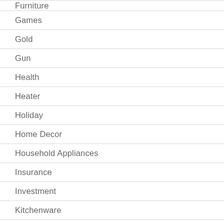Furniture
Games
Gold
Gun
Health
Heater
Holiday
Home Decor
Household Appliances
Insurance
Investment
Kitchenware